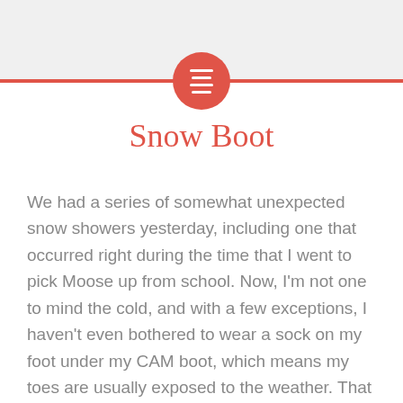[Figure (other): Red horizontal bar with centered red circle icon containing hamburger/menu lines, on a light grey header background]
Snow Boot
We had a series of somewhat unexpected snow showers yesterday, including one that occurred right during the time that I went to pick Moose up from school. Now, I'm not one to mind the cold, and with a few exceptions, I haven't even bothered to wear a sock on my foot under my CAM boot, which means my toes are usually exposed to the weather. That also doesn't bother me. I was surprised, though, at how quickly the snow accumulated on top of the